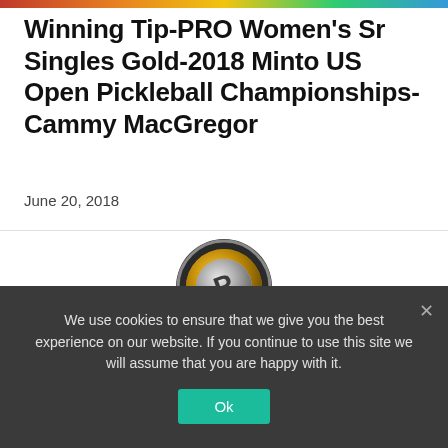[Figure (illustration): Thin decorative color gradient bar at top of page]
Winning Tip-PRO Women's Sr Singles Gold-2018 Minto US Open Pickleball Championships-Cammy MacGregor
June 20, 2018
[Figure (logo): Circular pickleball channel logo with gold and silver metallic design featuring stylized P letter]
WE ARE PICKLEBALL CHANNEL
We use cookies to ensure that we give you the best experience on our website. If you continue to use this site we will assume that you are happy with it.